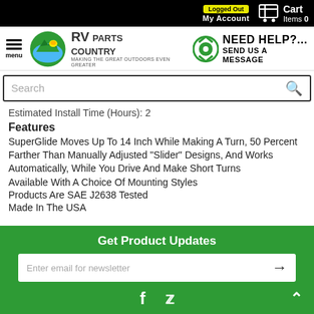Logged Out | My Account | Cart Items 0
[Figure (logo): RV Parts Country logo with hamburger menu and 'NEED HELP?... SEND US A MESSAGE' help area]
Search
Estimated Install Time (Hours): 2
Features
SuperGlide Moves Up To 14 Inch While Making A Turn, 50 Percent Farther Than Manually Adjusted "Slider" Designs, And Works Automatically, While You Drive And Make Short Turns
Available With A Choice Of Mounting Styles
Products Are SAE J2638 Tested
Made In The USA
Get Product Updates | Enter email for newsletter | Facebook | Twitter